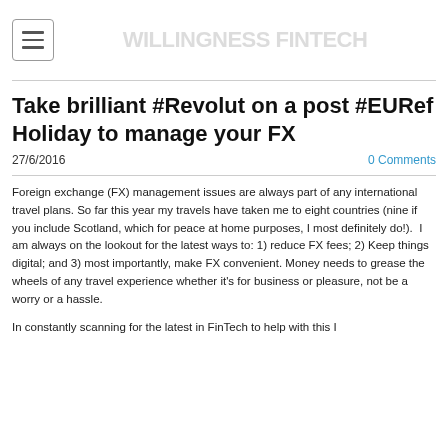[Navigation header with hamburger menu and site logo/title]
Take brilliant #Revolut on a post #EURef Holiday to manage your FX
27/6/2016
0 Comments
Foreign exchange (FX) management issues are always part of any international travel plans. So far this year my travels have taken me to eight countries (nine if you include Scotland, which for peace at home purposes, I most definitely do!).  I am always on the lookout for the latest ways to: 1) reduce FX fees; 2) Keep things digital; and 3) most importantly, make FX convenient. Money needs to grease the wheels of any travel experience whether it's for business or pleasure, not be a worry or a hassle.
In constantly scanning for the latest in FinTech to help with this I